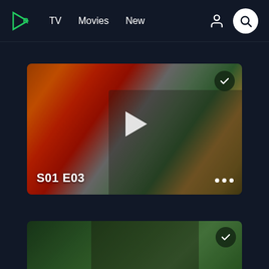TV  Movies  New
[Figure (screenshot): Video streaming app showing episode card for S01 E03 - a drama scene with a man wearing glasses, with play button overlay, checkmark badge, and three-dot menu. Below is a second card partially visible showing an outdoor scene.]